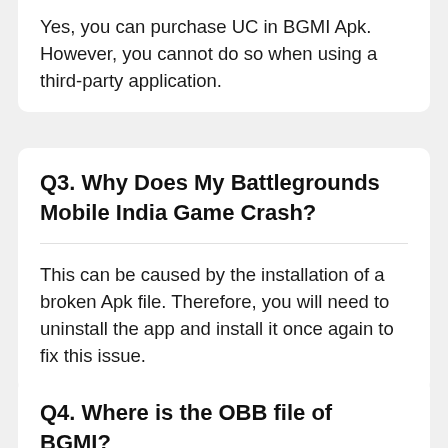Yes, you can purchase UC in BGMI Apk. However, you cannot do so when using a third-party application.
Q3. Why Does My Battlegrounds Mobile India Game Crash?
This can be caused by the installation of a broken Apk file. Therefore, you will need to uninstall the app and install it once again to fix this issue.
Q4. Where is the OBB file of BGMI?